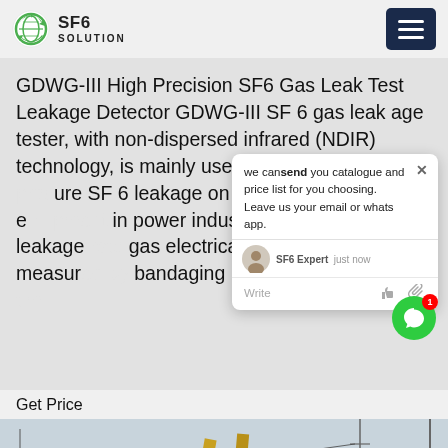SF6 SOLUTION
GDWG-III High Precision SF6 Gas Leak Test Leakage Detector GDWG-III SF 6 gas leak age tester, with non-dispersed infrared (NDIR) technology, is mainly used to pinpoint the precise SF 6 leakage on GIS and refilling equipment in power industry. The annual leakage rate of SF6 gas electrical equipment is measured by bandaging method. At the same time
[Figure (screenshot): Chat popup overlay with message: 'we can send you catalogue and price list for you choosing. Leave us your email or whatsapp.' SF6 Expert just now. Write input area.]
Get Price
[Figure (photo): Industrial scene showing a yellow truck/crane vehicle at what appears to be a power substation or industrial facility. Overhead power lines and equipment visible in background against a pale sky.]